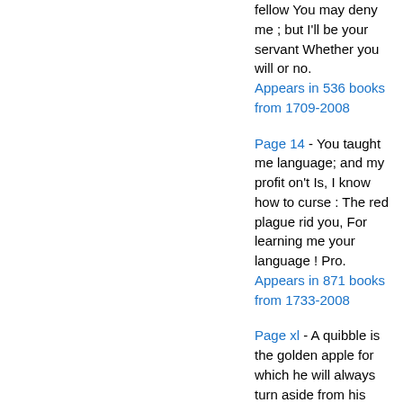fellow You may deny me ; but I'll be your servant Whether you will or no. Appears in 536 books from 1709-2008
Page 14 - You taught me language; and my profit on't Is, I know how to curse : The red plague rid you, For learning me your language ! Pro. Appears in 871 books from 1733-2008
Page xl - A quibble is the golden apple for which he will always turn aside from his career, or stoop from his elevation. A quibble, poor and barren as it is, gave him such delight that he was